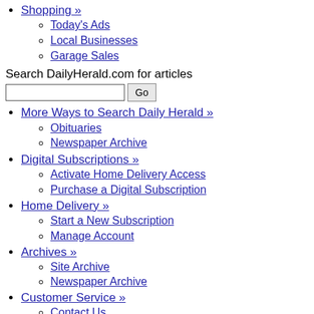Shopping »
Today's Ads
Local Businesses
Garage Sales
Search DailyHerald.com for articles
More Ways to Search Daily Herald »
Obituaries
Newspaper Archive
Digital Subscriptions »
Activate Home Delivery Access
Purchase a Digital Subscription
Home Delivery »
Start a New Subscription
Manage Account
Archives »
Site Archive
Newspaper Archive
Customer Service »
Contact Us
Staff Directory
Newsroom